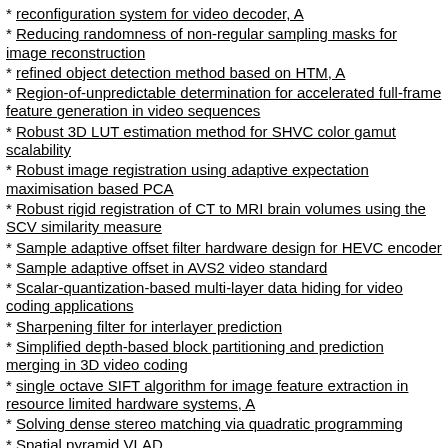reconfiguration system for video decoder, A
Reducing randomness of non-regular sampling masks for image reconstruction
refined object detection method based on HTM, A
Region-of-unpredictable determination for accelerated full-frame feature generation in video sequences
Robust 3D LUT estimation method for SHVC color gamut scalability
Robust image registration using adaptive expectation maximisation based PCA
Robust rigid registration of CT to MRI brain volumes using the SCV similarity measure
Sample adaptive offset filter hardware design for HEVC encoder
Sample adaptive offset in AVS2 video standard
Scalar-quantization-based multi-layer data hiding for video coding applications
Sharpening filter for interlayer prediction
Simplified depth-based block partitioning and prediction merging in 3D video coding
single octave SIFT algorithm for image feature extraction in resource limited hardware systems, A
Solving dense stereo matching via quadratic programming
Spatial pyramid VLAD
Spatio-temporal coherence for 3-D view synthesis with